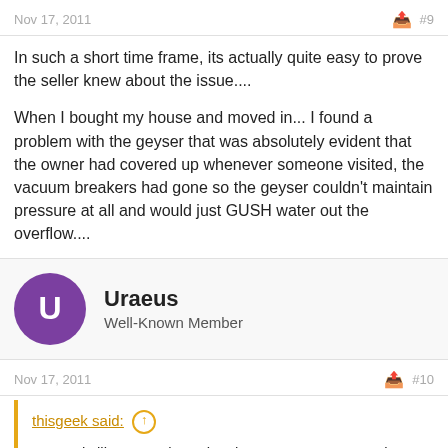Nov 17, 2011  #9
In such a short time frame, its actually quite easy to prove the seller knew about the issue....
When I bought my house and moved in... I found a problem with the geyser that was absolutely evident that the owner had covered up whenever someone visited, the vacuum breakers had gone so the geyser couldn't maintain pressure at all and would just GUSH water out the overflow....
Uraeus
Well-Known Member
Nov 17, 2011  #10
thisgeek said: ↑
It sounds like you're boned, unless you want to spend a crap load of money, with the risk of not coming out on top.
The problem is the voetstoots clause. You're fortunate that the sellers